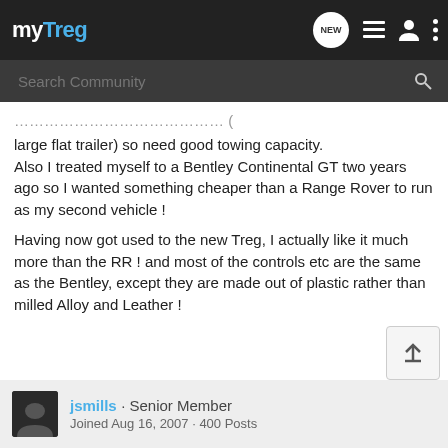myTreg
large flat trailer) so need good towing capacity. Also I treated myself to a Bentley Continental GT two years ago so I wanted something cheaper than a Range Rover to run as my second vehicle !
Having now got used to the new Treg, I actually like it much more than the RR ! and most of the controls etc are the same as the Bentley, except they are made out of plastic rather than milled Alloy and Leather !
jsmills · Senior Member
Joined Aug 16, 2007 · 400 Posts